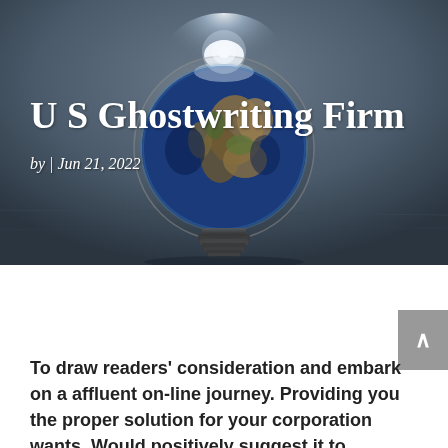[Figure (photo): A lightbulb containing a glowing image of Earth, set against a dark concrete background with a bright light emanating from the top of the bulb.]
U S Ghostwriting Firm
by | Jun 21, 2022
To draw readers' consideration and embark on a affluent on-line journey. Providing you the proper solution for your corporation wants. Would positively suggest it to everybody who